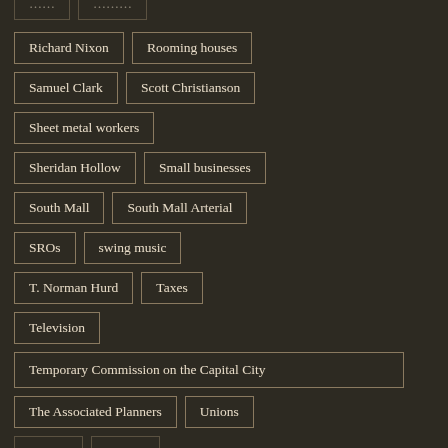Richard Nixon
Rooming houses
Samuel Clark
Scott Christianson
Sheet metal workers
Sheridan Hollow
Small businesses
South Mall
South Mall Arterial
SROs
swing music
T. Norman Hurd
Taxes
Television
Temporary Commission on the Capital City
The Associated Planners
Unions